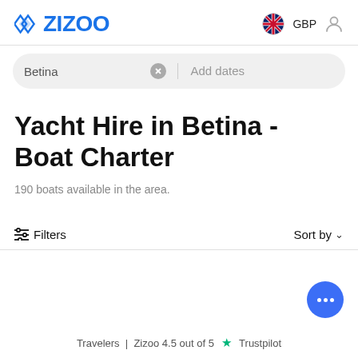[Figure (logo): Zizoo logo with diamond/arrow icon and blue text]
[Figure (screenshot): UK flag icon with GBP currency label and user profile icon]
[Figure (screenshot): Search bar with Betina location text, clear button, and Add dates placeholder]
Yacht Hire in Betina - Boat Charter
190 boats available in the area.
Filters
Sort by
Travelers | Zizoo 4.5 out of 5 ★ Trustpilot